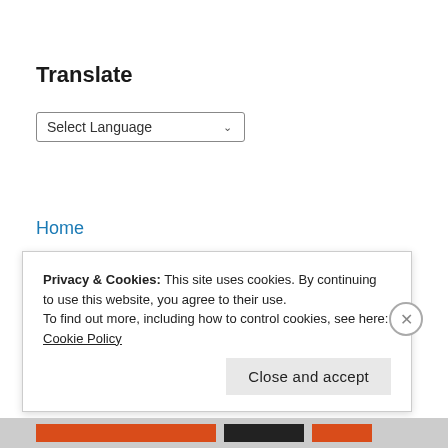Translate
[Figure (screenshot): Language selector dropdown showing 'Select Language' with a chevron arrow, followed by 'Powered by Google Translate' text]
Home
Contact
Privacy & Cookies: This site uses cookies. By continuing to use this website, you agree to their use. To find out more, including how to control cookies, see here: Cookie Policy
Close and accept